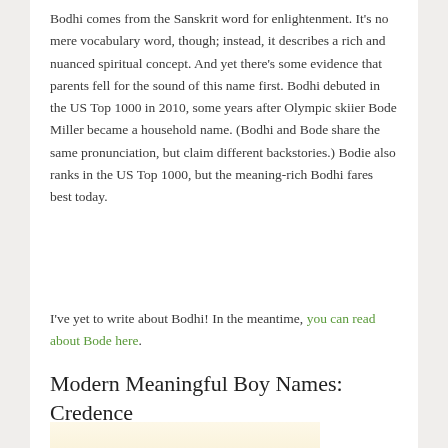Bodhi comes from the Sanskrit word for enlightenment. It's no mere vocabulary word, though; instead, it describes a rich and nuanced spiritual concept. And yet there's some evidence that parents fell for the sound of this name first. Bodhi debuted in the US Top 1000 in 2010, some years after Olympic skiier Bode Miller became a household name. (Bodhi and Bode share the same pronunciation, but claim different backstories.) Bodie also ranks in the US Top 1000, but the meaning-rich Bodhi fares best today.
I've yet to write about Bodhi! In the meantime, you can read about Bode here.
Modern Meaningful Boy Names: Credence
[Figure (illustration): Decorative image with the word 'Credence' written in cursive script over a light yellow/cream background, with 'Baby Name of the Day' written below in smaller pink/tan cursive text]